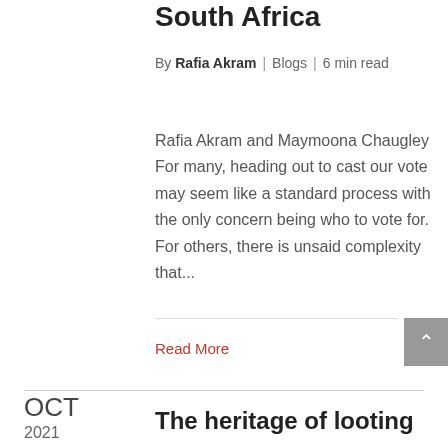South Africa
By Rafia Akram | Blogs | 6 min read
Rafia Akram and Maymoona Chaugley For many, heading out to cast our vote may seem like a standard process with the only concern being who to vote for. For others, there is unsaid complexity that...
Read More
The heritage of looting
OCT 2021